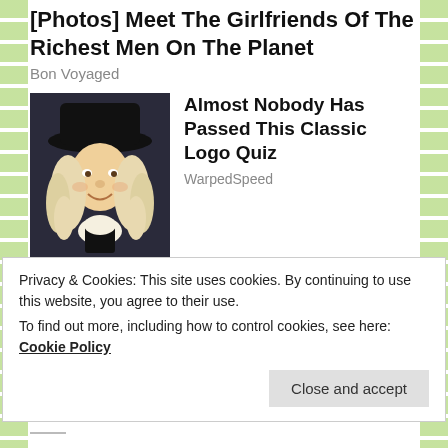[Photos] Meet The Girlfriends Of The Richest Men On The Planet
Bon Voyaged
[Figure (photo): Illustrated portrait of a historical figure wearing a black wide-brim hat and white colonial-era clothing with a white wig]
Almost Nobody Has Passed This Classic Logo Quiz
WarpedSpeed
[Figure (photo): Photo of a grey/white pitbull dog standing on grass]
[Photos] Toddler Missing For 2 Days: Man Opens Door, Realizes Pitbull Had Her
Privacy & Cookies: This site uses cookies. By continuing to use this website, you agree to their use.
To find out more, including how to control cookies, see here: Cookie Policy
Close and accept